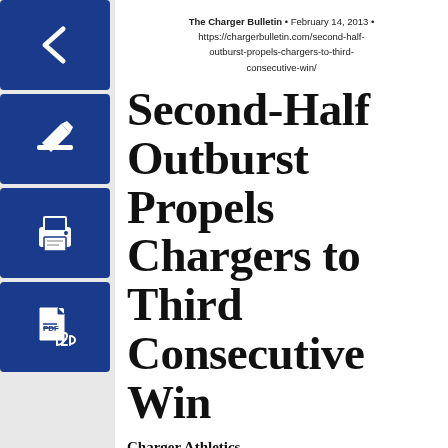The Charger Bulletin • February 14, 2013 • https://chargerbulletin.com/second-half-outburst-propels-chargers-to-third-consecutive-win/
Second-Half Outburst Propels Chargers to Third Consecutive Win
Charger Athletics
WEST HAVEN, Conn. – The University of New Haven women's basketball team overcame an eight-point halftime deficit,